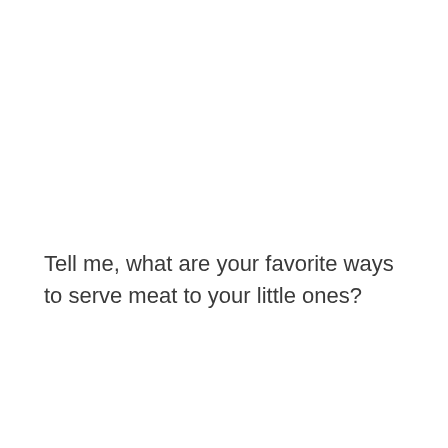Tell me, what are your favorite ways to serve meat to your little ones?